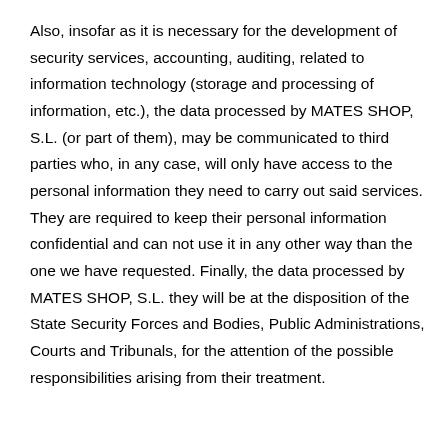Also, insofar as it is necessary for the development of security services, accounting, auditing, related to information technology (storage and processing of information, etc.), the data processed by MATES SHOP, S.L. (or part of them), may be communicated to third parties who, in any case, will only have access to the personal information they need to carry out said services. They are required to keep their personal information confidential and can not use it in any other way than the one we have requested. Finally, the data processed by MATES SHOP, S.L. they will be at the disposition of the State Security Forces and Bodies, Public Administrations, Courts and Tribunals, for the attention of the possible responsibilities arising from their treatment.